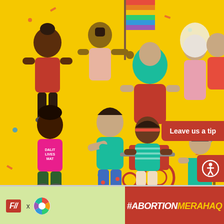[Figure (illustration): Colorful illustration of a diverse group of women and people on a bright yellow background, including a person with a rainbow flag, a person in hijab, a person in a wheelchair, an elderly woman with a cane, a woman with 'Dalit Lives Matter' tank top, and others representing diverse communities celebrating reproductive rights.]
[Figure (logo): FII (Feminism in India) logo in red box with italic text, an 'x' symbol, and a partner organization logo with colorful grid squares, on a light green/yellow background]
#ABORTIONMERAHAQ